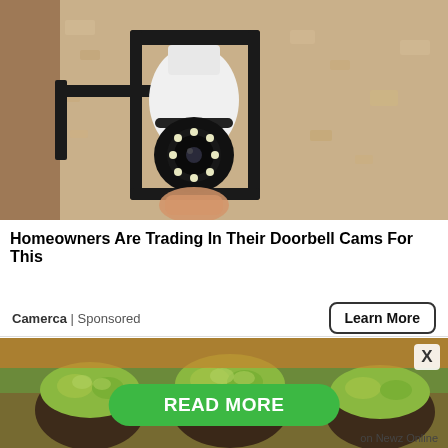[Figure (photo): A security camera shaped like a light bulb installed inside a black outdoor lantern fixture mounted on a textured beige stucco wall. A hand is visible installing it.]
Homeowners Are Trading In Their Doorbell Cams For This
Camerca | Sponsored
Learn More
[Figure (photo): Close-up of food — green herb-topped muffins or baked items in dark muffin cups on a wooden surface.]
READ MORE
on Newz Online